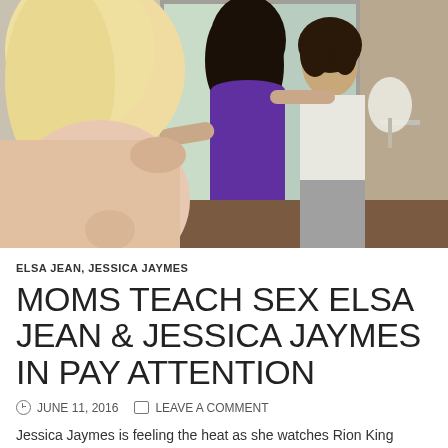[Figure (photo): Indoor scene with three people: a blonde woman in foreground facing away, a dark-haired woman in a purple dress embracing a young man in a white tank top and grey pants, with glass doors and outdoor scenery in the background]
ELSA JEAN, JESSICA JAYMES
MOMS TEACH SEX ELSA JEAN & JESSICA JAYMES IN PAY ATTENTION
JUNE 11, 2016   LEAVE A COMMENT
Jessica Jaymes is feeling the heat as she watches Rion King...